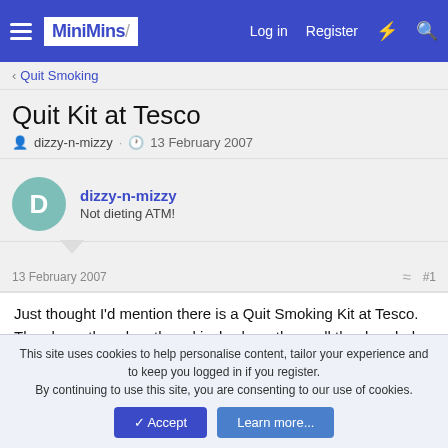MiniMins — Log in  Register
< Quit Smoking
Quit Kit at Tesco
dizzy-n-mizzy · 13 February 2007
dizzy-n-mizzy
Not dieting ATM!
13 February 2007   #1
Just thought I'd mention there is a Quit Smoking Kit at Tesco. They have them buy there kiosk where they sell the dreaded weed. They contain lots of information. Chart and stickers and some pretty good money off vouchers too. 🙂
This site uses cookies to help personalise content, tailor your experience and to keep you logged in if you register.
By continuing to use this site, you are consenting to our use of cookies.
Accept  Learn more...